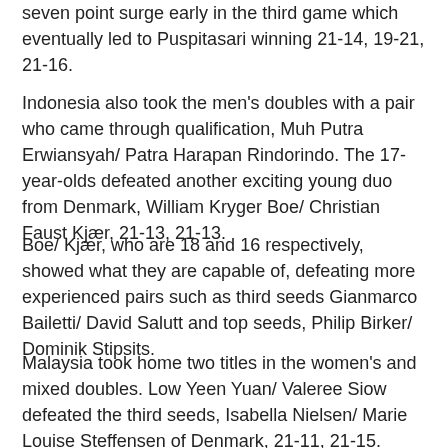seven point surge early in the third game which eventually led to Puspitasari winning 21-14, 19-21, 21-16.
Indonesia also took the men's doubles with a pair who came through qualification, Muh Putra Erwiansyah/ Patra Harapan Rindorindo. The 17-year-olds defeated another exciting young duo from Denmark, William Kryger Boe/ Christian Faust Kjær, 21-13, 21-13.
Boe/ Kjær, who are 18 and 16 respectively, showed what they are capable of, defeating more experienced pairs such as third seeds Gianmarco Bailetti/ David Salutt and top seeds, Philip Birker/ Dominik Stipsits.
Malaysia took home two titles in the women's and mixed doubles. Low Yeen Yuan/ Valeree Siow defeated the third seeds, Isabella Nielsen/ Marie Louise Steffensen of Denmark, 21-11, 21-15.
Choong Hon Jian/ Toh Ee Wei stopped Erwiansyah from getting his double with a 21-18, 21-18 win over Muh Putra Erwiansyah/ Sofy Al Mushira Asharunnisa.